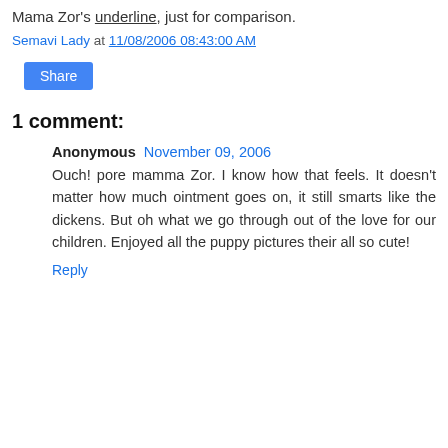Mama Zor's underline, just for comparison.
Semavi Lady at 11/08/2006 08:43:00 AM
1 comment:
Anonymous November 09, 2006
Ouch! pore mamma Zor. I know how that feels. It doesn't matter how much ointment goes on, it still smarts like the dickens. But oh what we go through out of the love for our children. Enjoyed all the puppy pictures their all so cute!
Reply